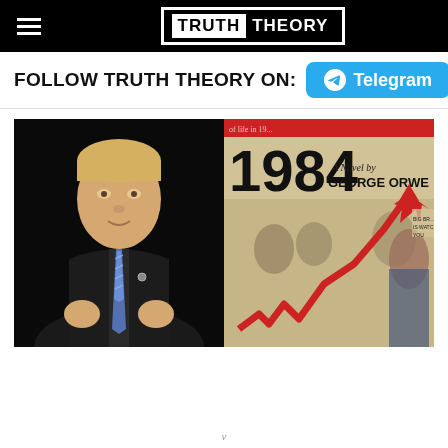TRUTH THEORY
FOLLOW TRUTH THEORY ON: Telegram
[Figure (photo): Composite image: left side shows a man in a dark suit with blue striped tie gesturing with hands, against a dark background; right side shows the cover of the novel '1984, A Novel by George Orwell' with a red upward trending arrow chart overlaid on the book cover.]